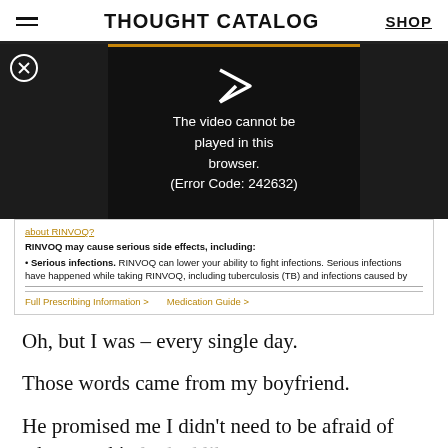THOUGHT CATALOG | SHOP
[Figure (screenshot): Video player showing error message: 'The video cannot be played in this browser. (Error Code: 242632)' with close button (X) and play arrow icon, on dark background with side bars.]
[Figure (screenshot): Advertisement for RINVOQ medication. Text reads: 'about RINVOQ? RINVOQ may cause serious side effects, including: Serious infections. RINVOQ can lower your ability to fight infections. Serious infections have happened while taking RINVOQ, including tuberculosis (TB) and infections caused by' with links: 'Full Prescribing Information >' and 'Medication Guide >']
Oh, but I was – every single day.
Those words came from my boyfriend.
He promised me I didn’t need to be afraid of what my skin looked like.